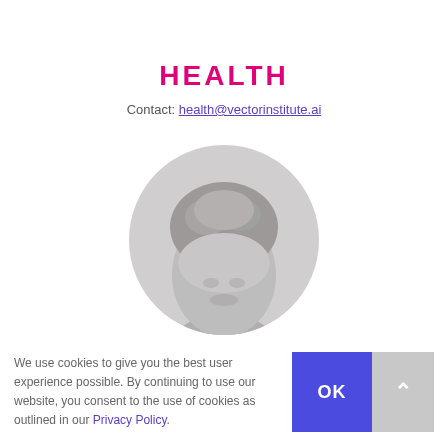HEALTH
Contact: health@vectorinstitute.ai
[Figure (photo): Grayscale circular portrait photo showing the top of a person's head with short light hair, cropped at mid-face level]
We use cookies to give you the best user experience possible. By continuing to use our website, you consent to the use of cookies as outlined in our Privacy Policy.